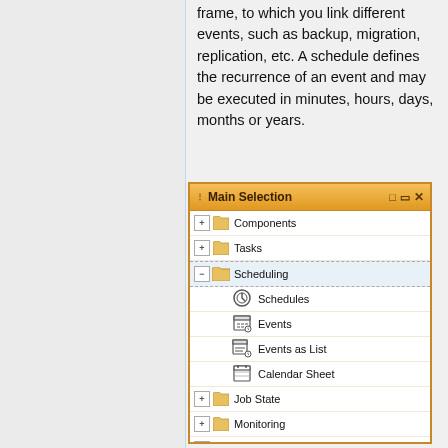frame, to which you link different events, such as backup, migration, replication, etc. A schedule defines the recurrence of an event and may be executed in minutes, hours, days, months or years.
[Figure (screenshot): A software UI window titled 'Main Selection' showing a tree navigation panel with items: Components, Tasks, Scheduling (expanded with sub-items: Schedules, Events, Events as List, Calendar Sheet), Job State, Monitoring, Logging.]